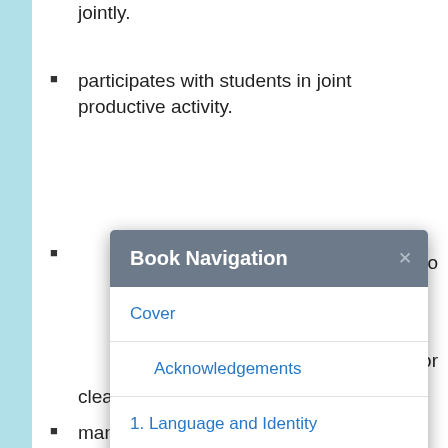group needs to communicate and work jointly.
participates with students in joint productive activity.
[Figure (screenshot): Book Navigation modal dialog showing links: Cover, Acknowledgements, 1. Language and Identity, 1.1. What Is a Speech Community?]
clean-up, dismissal, and the like.
manages student and teacher access to materials and technology to